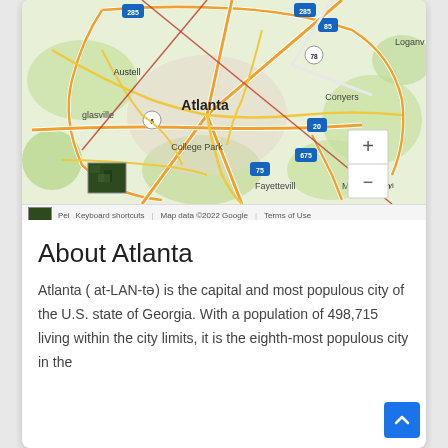[Figure (map): Google Maps view centered on Atlanta, Georgia showing surrounding cities including Austell, College Park, Fayetteville, McDonough, Conyers, and Loganville. Interstate highways 285, 85, 75, 20, 675, 78 visible. Zoom controls (+/-) on the right side. Satellite thumbnail in lower left corner.]
Pei Keyboard shortcuts   Map data ©2022 Google   Terms of Use
About Atlanta
Atlanta ( at-LAN-tə) is the capital and most populous city of the U.S. state of Georgia. With a population of 498,715 living within the city limits, it is the eighth-most populous city in the